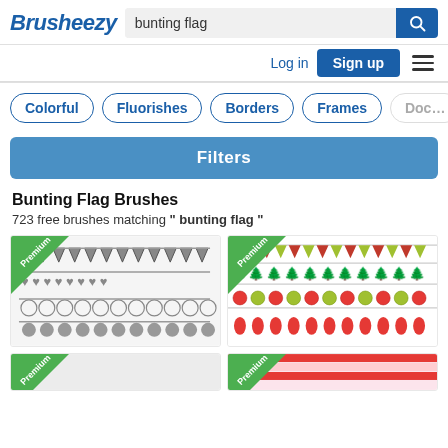Brusheezy — bunting flag search page
Brusheezy
bunting flag
Log in  Sign up
Colorful
Fluorishes
Borders
Frames
Doc…
Filters
Bunting Flag Brushes
723 free brushes matching " bunting flag "
[Figure (screenshot): Thumbnail of chalkboard-style bunting flag brushes with hearts, circles and triangular pennants, with green Premium badge]
[Figure (screenshot): Thumbnail of colorful Christmas-themed bunting flag brushes with trees, ornaments and stockings, with green Premium badge]
[Figure (screenshot): Partially visible thumbnail at bottom-left with green Premium badge]
[Figure (screenshot): Partially visible thumbnail at bottom-right with green Premium badge]